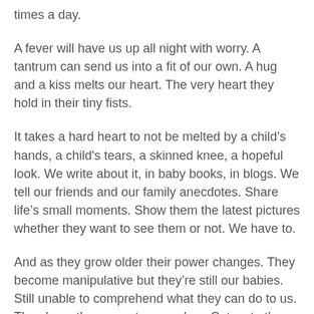times a day.
A fever will have us up all night with worry. A tantrum can send us into a fit of our own. A hug and a kiss melts our heart. The very heart they hold in their tiny fists.
It takes a hard heart to not be melted by a child’s hands, a child's tears, a skinned knee, a hopeful look. We write about it, in baby books, in blogs. We tell our friends and our family anecdotes. Share life’s small moments. Show them the latest pictures whether they want to see them or not. We have to.
And as they grow older their power changes. They become manipulative but they’re still our babies. Still unable to comprehend what they can do to us. They have the power to wound us. Cut us to the core. Demolish us with a word. Make us bleed with an action. We grapple with our feelings for them. Love, hate, resentment, need. How crazy that all those emotions and more can be evoked all at once and by one small person. How insane we can feel this way because of...